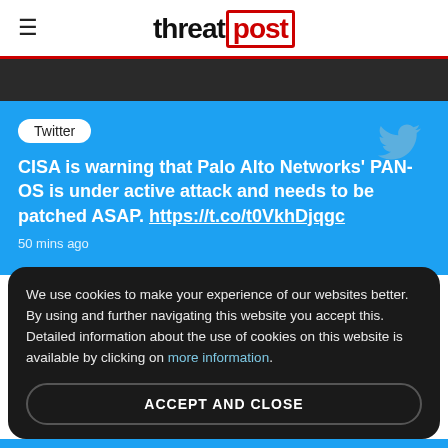threatpost
[Figure (screenshot): Dark grey banner strip below header]
Twitter
CISA is warning that Palo Alto Networks' PAN-OS is under active attack and needs to be patched ASAP. https://t.co/t0VkhDjqgc
50 mins ago
We use cookies to make your experience of our websites better. By using and further navigating this website you accept this. Detailed information about the use of cookies on this website is available by clicking on more information.
ACCEPT AND CLOSE